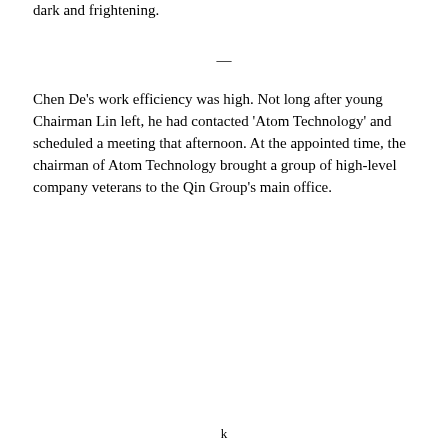dark and frightening.
—
Chen De's work efficiency was high. Not long after young Chairman Lin left, he had contacted 'Atom Technology' and scheduled a meeting that afternoon. At the appointed time, the chairman of Atom Technology brought a group of high-level company veterans to the Qin Group's main office.
k